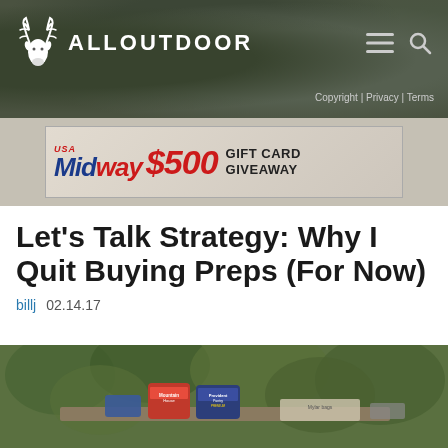ALLOUTDOOR
Copyright | Privacy | Terms
[Figure (advertisement): MidwayUSA $500 Gift Card Giveaway advertisement banner]
Let’s Talk Strategy: Why I Quit Buying Preps (For Now)
billj  02.14.17
[Figure (photo): Outdoor survival preps including Mountain House and Provident Pantry cans, mylar bags, and other food storage items on a table with green foliage in background]